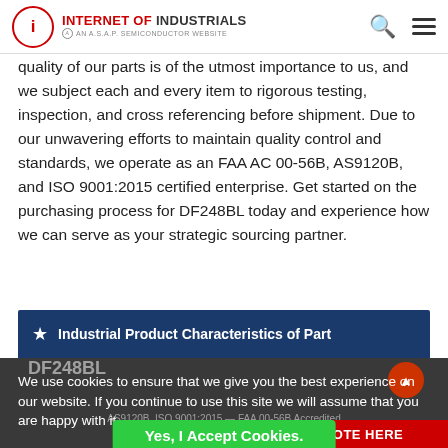INTERNET OF INDUSTRIALS — AN A.S.A.P. SEMICONDUCTOR WEBSITE
quality of our parts is of the utmost importance to us, and we subject each and every item to rigorous testing, inspection, and cross referencing before shipment. Due to our unwavering efforts to maintain quality control and standards, we operate as an FAA AC 00-56B, AS9120B, and ISO 9001:2015 certified enterprise. Get started on the purchasing process for DF248BL today and experience how we can serve as your strategic sourcing partner.
★ Industrial Product Characteristics of Part DF248BL
We use cookies to ensure that we give you the best experience on our website. If you continue to use this site we will assume that you are happy with it.
Yes, I Accept Cookies.